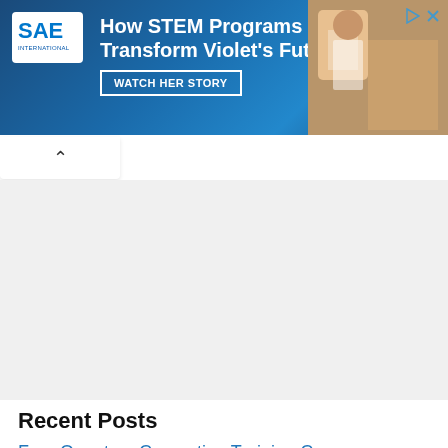[Figure (screenshot): SAE International advertisement banner with blue gradient background. Features SAE logo top-left, headline 'How STEM Programs Transform Violet's Future', 'WATCH HER STORY' button with white border, and a photo of a child on the right. Play and X icons in top-right corner.]
Recent Posts
Free Quantum Computing Training Course Launched by the Linux Foundation and World Bank